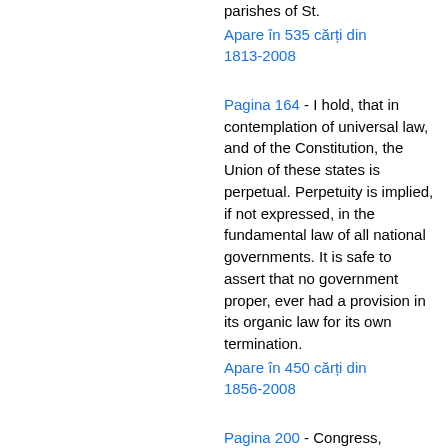parishes of St.
Apare în 535 cărți din 1813-2008
Pagina 164 - I hold, that in contemplation of universal law, and of the Constitution, the Union of these states is perpetual. Perpetuity is implied, if not expressed, in the fundamental law of all national governments. It is safe to assert that no government proper, ever had a provision in its organic law for its own termination.
Apare în 450 cărți din 1856-2008
Pagina 200 - Congress, banishing all feelings of